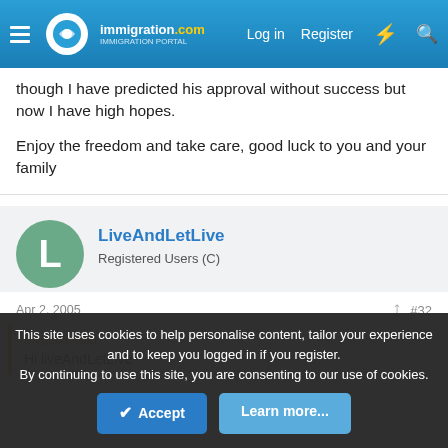immigration.com — Log in  Register
though I have predicted his approval without success but now I have high hopes.

Enjoy the freedom and take care, good luck to you and your family
LiveAndLetLive
Registered Users (C)
Apr 2, 2005  #32
mygc05 said:
Hi liveAndLetLive
This site uses cookies to help personalise content, tailor your experience and to keep you logged in if you register.
By continuing to use this site, you are consenting to our use of cookies.